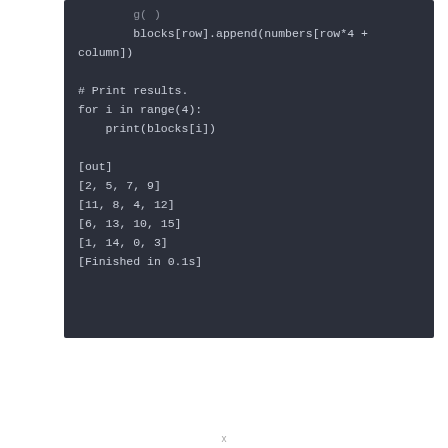[Figure (screenshot): Dark-themed code editor/terminal block showing Python code snippet and output. Code: blocks[row].append(numbers[row*4 + column]) followed by # Print results. for i in range(4): print(blocks[i]). Output: [out] [2, 5, 7, 9] [11, 8, 4, 12] [6, 13, 10, 15] [1, 14, 0, 3] [Finished in 0.1s]]
x